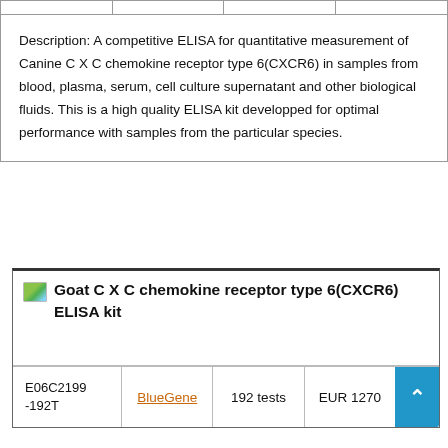|  |
| Description: A competitive ELISA for quantitative measurement of Canine C X C chemokine receptor type 6(CXCR6) in samples from blood, plasma, serum, cell culture supernatant and other biological fluids. This is a high quality ELISA kit developped for optimal performance with samples from the particular species. |
| Goat C X C chemokine receptor type 6(CXCR6) ELISA kit |
| --- |
| E06C2199-192T | BlueGene | 192 tests | EUR 1270 |